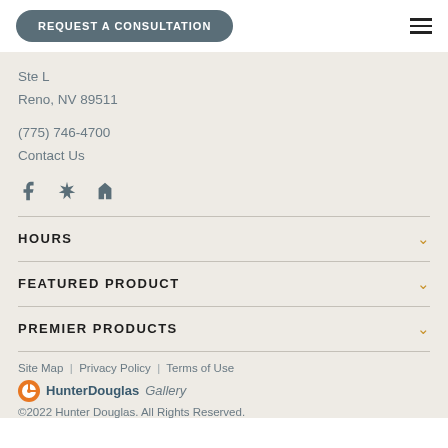REQUEST A CONSULTATION
Ste L
Reno, NV 89511
(775) 746-4700
Contact Us
[Figure (other): Social media icons: Facebook, Yelp, Houzz]
HOURS
FEATURED PRODUCT
PREMIER PRODUCTS
Site Map | Privacy Policy | Terms of Use
HunterDouglas Gallery
©2022 Hunter Douglas. All Rights Reserved.